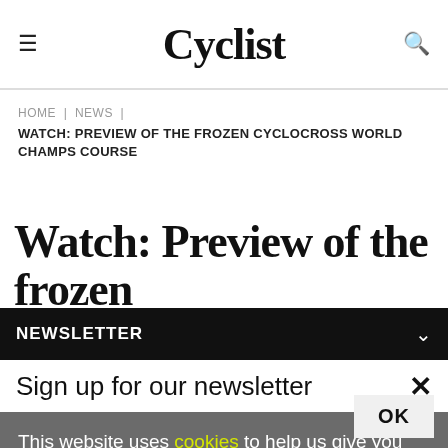Cyclist
HOME | NEWS | WATCH: PREVIEW OF THE FROZEN CYCLOCROSS WORLD CHAMPS COURSE
Watch: Preview of the frozen
NEWSLETTER
Sign up for our newsletter
This website uses cookies to help us give you the best experience when you visit our website. By continuing to use this website, you consent to our use of these cookies.